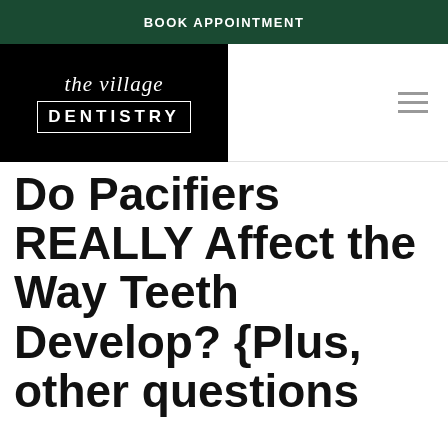BOOK APPOINTMENT
[Figure (logo): The Village Dentistry logo — white script 'the village' text above a white box containing bold 'DENTISTRY' in capital letters, on a black background]
Do Pacifiers REALLY Affect the Way Teeth Develop? {Plus, other questions